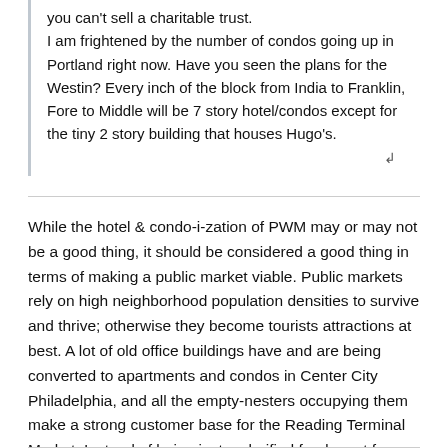you can't sell a charitable trust. I am frightened by the number of condos going up in Portland right now. Have you seen the plans for the Westin? Every inch of the block from India to Franklin, Fore to Middle will be 7 story hotel/condos except for the tiny 2 story building that houses Hugo's.
While the hotel & condo-i-zation of PWM may or may not be a good thing, it should be considered a good thing in terms of making a public market viable. Public markets rely on high neighborhood population densities to survive and thrive; otherwise they become tourists attractions at best. A lot of old office buildings have and are being converted to apartments and condos in Center City Philadelphia, and all the empty-nesters occupying them make a strong customer base for the Reading Terminal Market. Instead of being just a glorified food court for office workers and tourists, the RTM actually has purveyors making money selling produce, fish and meat. Of course, you can get a helluva good roast pork sandwich there, too.